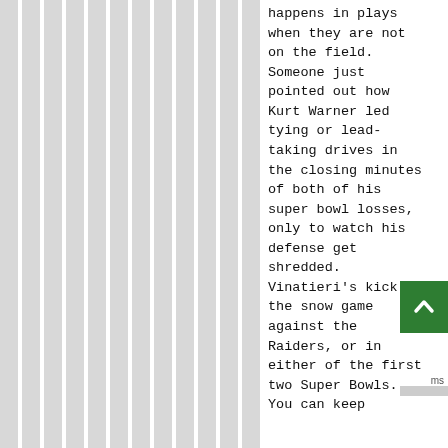happens in plays when they are not on the field. Someone just pointed out how Kurt Warner led tying or lead-taking drives in the closing minutes of both of his super bowl losses, only to watch his defense get shredded. Vinatieri's kick in the snow game against the Raiders, or in either of the first two Super Bowls. You can keep
[Figure (other): Green back-to-top button with white upward-pointing chevron/arrow icon]